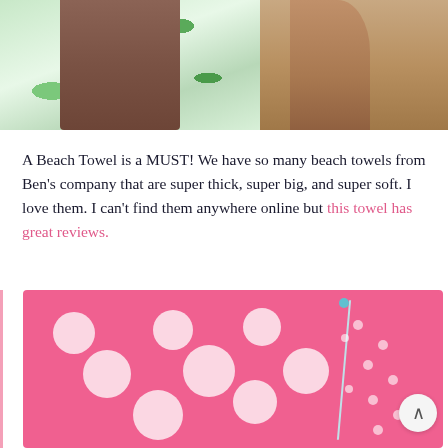[Figure (photo): Top portion showing tropical leaf print fabric/swimwear on left with dark-skinned torso, and dark-skinned arm/torso on right, white background]
A Beach Towel is a MUST! We have so many beach towels from Ben's company that are super thick, super big, and super soft. I love them. I can't find them anywhere online but this towel has great reviews.
[Figure (photo): Pink polka dot beach towel with white dots on bright pink background, partially folded showing zipper and smaller polka dot pattern on folded portion]